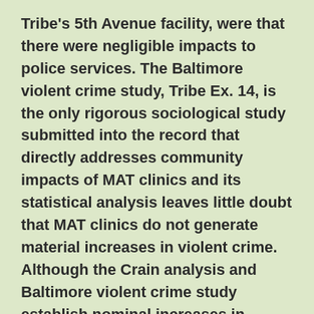Tribe's 5th Avenue facility, were that there were negligible impacts to police services. The Baltimore violent crime study, Tribe Ex. 14, is the only rigorous sociological study submitted into the record that directly addresses community impacts of MAT clinics and its statistical analysis leaves little doubt that MAT clinics do not generate material increases in violent crime. Although the Crain analysis and Baltimore violent crime study establish nominal increases in violent crime, the Goldberg materials still leave open the issue of nonviolent crime associated with so-called crime cultures created by MAT clinics. For the most part the Goldberg materials identifying nonviolent crime cultures associated with MAT